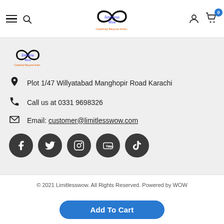Navigation bar with hamburger menu, search, logo (Limitlesswow - Creativity Beyond limits), user icon, cart (0)
[Figure (logo): Limitlesswow infinity logo small]
Plot 1/47 Willyatabad Manghopir Road Karachi
Call us at 0331 9698326
Email: customer@limitlesswow.com
[Figure (infographic): Social media icons: Facebook, Twitter, Instagram, YouTube, TikTok]
© 2021 Limitlesswow. All Rights Reserved. Powered by WOW
Add To Cart